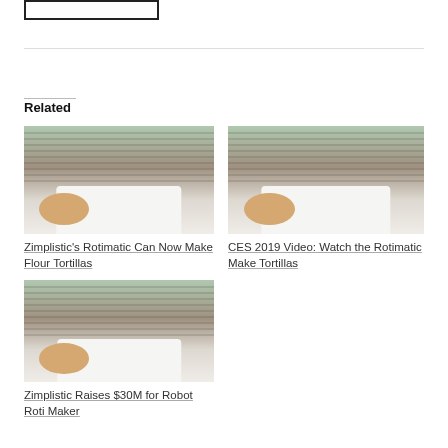[Figure (other): Small rectangular placeholder image box at top left]
Related
[Figure (photo): Photo of Rotimatic machine in a kitchen setting with venetian blinds background]
Zimplistic's Rotimatic Can Now Make Flour Tortillas
[Figure (photo): Photo of Rotimatic machine in a kitchen setting with venetian blinds background]
CES 2019 Video: Watch the Rotimatic Make Tortillas
[Figure (photo): Photo of Rotimatic machine in a kitchen setting with venetian blinds background]
Zimplistic Raises $30M for Robot Roti Maker